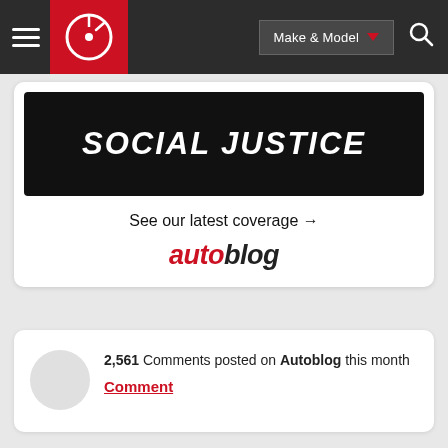Make & Model
[Figure (screenshot): Autoblog website advertisement card showing 'SOCIAL JUSTICE' text on black background with 'See our latest coverage →' link and Autoblog logo]
See our latest coverage →
autoblog
2,561 Comments posted on Autoblog this month
Comment